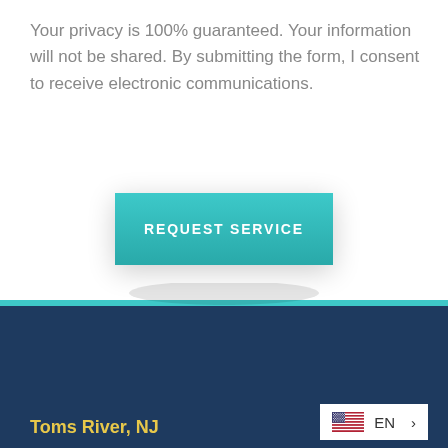Your privacy is 100% guaranteed. Your information will not be shared. By submitting the form, I consent to receive electronic communications.
REQUEST SERVICE
Toms River, NJ
EN